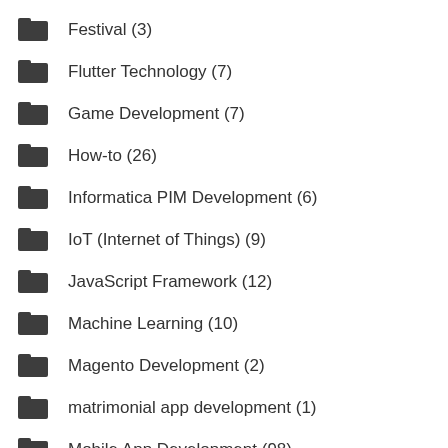Festival (3)
Flutter Technology (7)
Game Development (7)
How-to (26)
Informatica PIM Development (6)
IoT (Internet of Things) (9)
JavaScript Framework (12)
Machine Learning (10)
Magento Development (2)
matrimonial app development (1)
Mobile App Development (98)